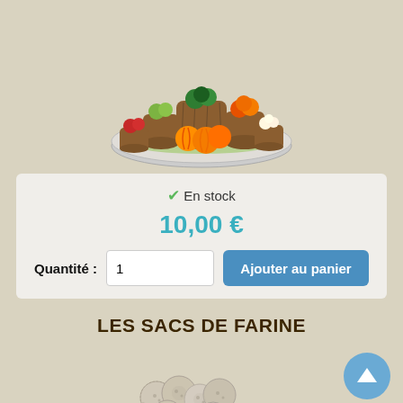[Figure (photo): Miniature decorative vegetable market display with baskets of colorful vegetables including carrots, broccoli, pumpkins, tomatoes, and green vegetables arranged on a stone-like base.]
✔ En stock
10,00 €
Quantité : 1   Ajouter au panier
LES SACS DE FARINE
[Figure (photo): Miniature decorative flour sacks or small round objects, white and speckled, partially visible at bottom of page.]
[Figure (other): Scroll-to-top button: circular blue button with white upward arrow.]